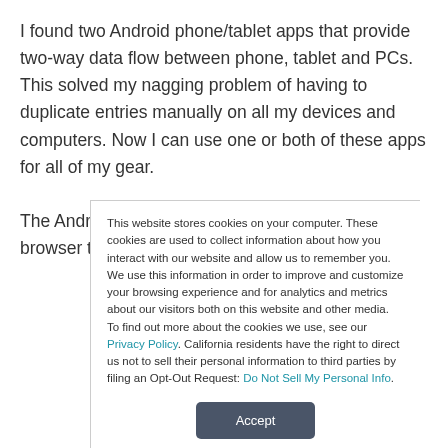I found two Android phone/tablet apps that provide two-way data flow between phone, tablet and PCs. This solved my nagging problem of having to duplicate entries manually on all my devices and computers. Now I can use one or both of these apps for all of my gear.
The Android app SpringPad uses the computer's browser to
This website stores cookies on your computer. These cookies are used to collect information about how you interact with our website and allow us to remember you. We use this information in order to improve and customize your browsing experience and for analytics and metrics about our visitors both on this website and other media. To find out more about the cookies we use, see our Privacy Policy. California residents have the right to direct us not to sell their personal information to third parties by filing an Opt-Out Request: Do Not Sell My Personal Info.
Accept